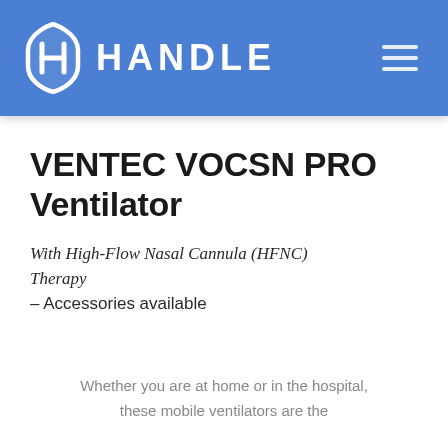HANDLE
VENTEC VOCSN PRO Ventilator
With High-Flow Nasal Cannula (HFNC) Therapy
– Accessories available
Whether you are at home or in the hospital, these mobile ventilators are the